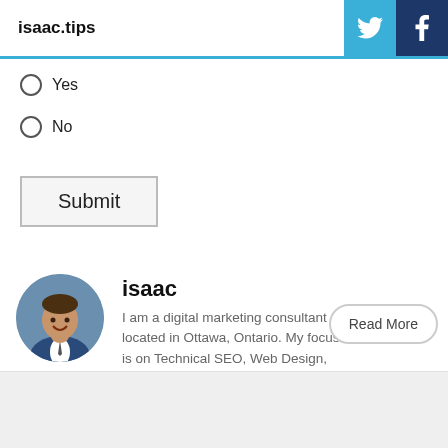isaac.tips
Yes
No
Submit
[Figure (photo): Circular profile photo of Isaac, a man in a suit smiling]
isaac
I am a digital marketing consultant located in Ottawa, Ontario. My focus is on Technical SEO, Web Design, and Content optimization for small to medium-sized businesses.
Read More